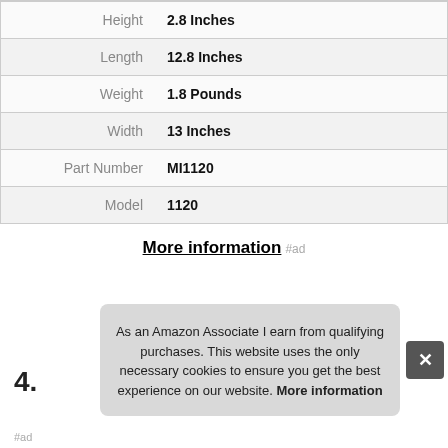| Attribute | Value |
| --- | --- |
| Height | 2.8 Inches |
| Length | 12.8 Inches |
| Weight | 1.8 Pounds |
| Width | 13 Inches |
| Part Number | MI1120 |
| Model | 1120 |
More information #ad
4.
As an Amazon Associate I earn from qualifying purchases. This website uses the only necessary cookies to ensure you get the best experience on our website. More information
#ad